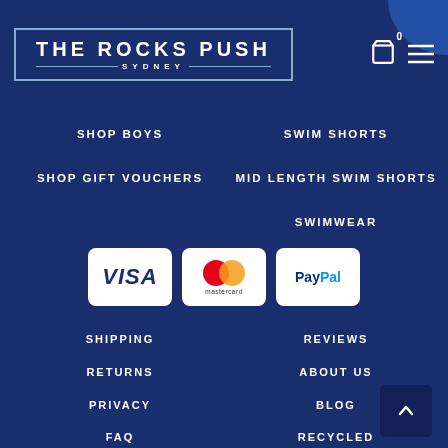THE ROCKS PUSH SYDNEY
SHOP BOYS
SWIM SHORTS
SHOP GIFT VOUCHERS
MID LENGTH SWIM SHORTS
SWIMWEAR
[Figure (logo): Payment method logos: VISA, Mastercard, PayPal]
SHIPPING
REVIEWS
RETURNS
ABOUT US
PRIVACY
BLOG
FAQ
RECYCLED
STORES
CONTACT US